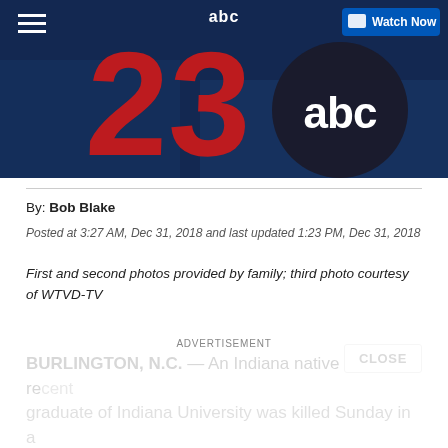[Figure (screenshot): 23 ABC News station logo on dark blue background with 'Watch Now' button in upper right and hamburger menu icon in upper left]
By: Bob Blake
Posted at 3:27 AM, Dec 31, 2018 and last updated 1:23 PM, Dec 31, 2018
First and second photos provided by family; third photo courtesy of WTVD-TV
BURLINGTON, N.C. — An Indiana native and recent graduate of Indiana University was killed Sunday in a lion attack at an animal conservation center in North
ADVERTISEMENT